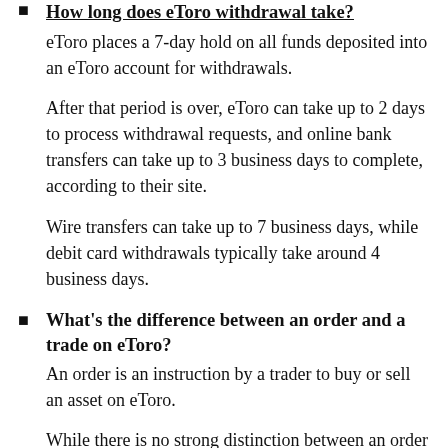How long does eToro withdrawal take? eToro places a 7-day hold on all funds deposited into an eToro account for withdrawals.

After that period is over, eToro can take up to 2 days to process withdrawal requests, and online bank transfers can take up to 3 business days to complete, according to their site.

Wire transfers can take up to 7 business days, while debit card withdrawals typically take around 4 business days.
What's the difference between an order and a trade on eToro? An order is an instruction by a trader to buy or sell an asset on eToro.

While there is no strong distinction between an order and a trade, they may be tracked separately through an Order